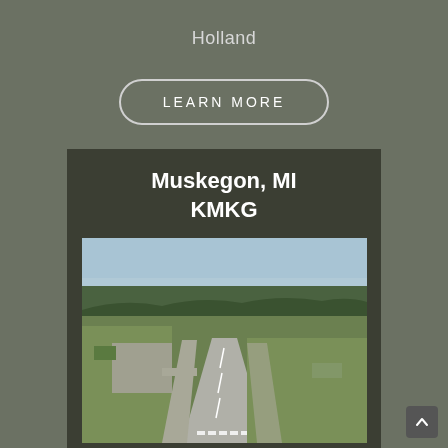Holland
LEARN MORE
Muskegon, MI
KMKG
[Figure (photo): Aerial photograph of Muskegon County Airport (KMKG) showing runway, taxiways, and surrounding trees and grounds viewed from above.]